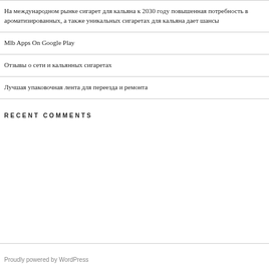На международном рынке сигарет для кальяна к 2030 году повышенная потребность в ароматизированных, а также уникальных сигаретах для кальяна дает шансы
Mlb Apps On Google Play
Отзывы о сети и кальянных сигаретах
Лучшая упаковочная лента для переезда и ремонта
RECENT COMMENTS
Proudly powered by WordPress